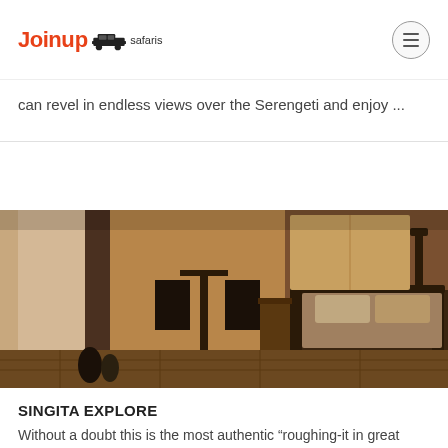Joinup Safaris
can revel in endless views over the Serengeti and enjoy ...
[Figure (photo): Interior of a luxury safari tent with a metal-frame bed, director's chairs, a small table, and various camping gear on a wooden floor. Warm orange and brown tones throughout.]
SINGITA EXPLORE
Without a doubt this is the most authentic “roughing-it in great style” experience the Serengeti has to offer. With a private